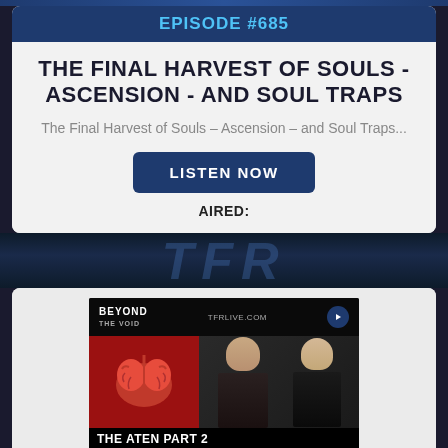EPISODE #685
THE FINAL HARVEST OF SOULS - ASCENSION - AND SOUL TRAPS
The Final Harvest of Souls – Ascension – and Soul Traps...
LISTEN NOW
AIRED:
[Figure (photo): Beyond The Void podcast thumbnail showing a red brain, two hosts, and text THE ATEN PART 2]
EPISODE #684
THE ATEN, RA, THE LAW OF ONE, AND COMMENTS